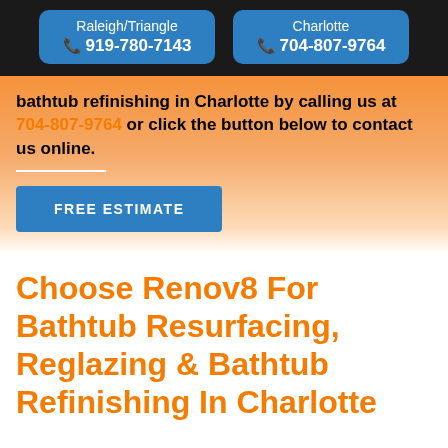Raleigh/Triangle 919-780-7143 | Charlotte 704-807-9764
bathtub refinishing in Charlotte by calling us at 704-807-9764 or click the button below to contact us online.
FREE ESTIMATE
Choose Renov8 For Bathtub Resurfacing, Reglazing & Bathtub Refinishing In Charlotte